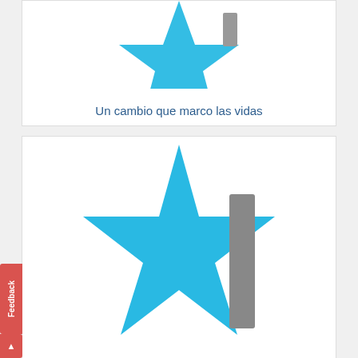[Figure (illustration): Partial blue star shape visible at top of upper card]
Un cambio que marco las vidas
[Figure (illustration): Large blue star shape with a gray vertical bar/rectangle to its right, centered in lower card]